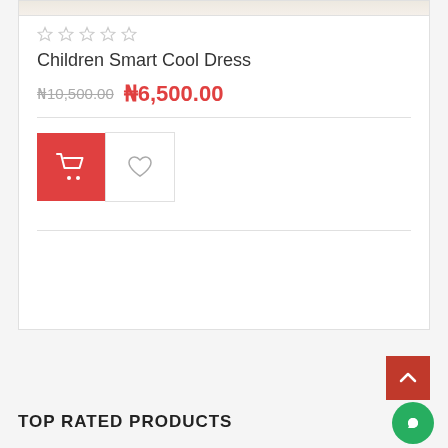[Figure (photo): Product image cropped at top, partially visible]
★★★★★ (empty stars rating)
Children Smart Cool Dress
₦10,500.00  ₦6,500.00
[Figure (other): Add to cart button (red square with cart icon) and wishlist heart button]
TOP RATED PRODUCTS
[Figure (other): Scroll to top red button with upward chevron]
[Figure (other): Green chat bubble button]